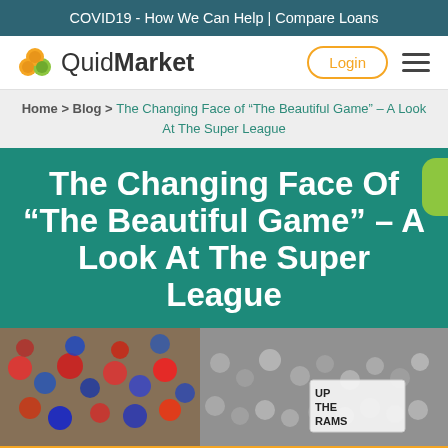COVID19 - How We Can Help | Compare Loans
[Figure (logo): QuidMarket logo with three colored circles icon and text 'QuidMarket']
Home > Blog > The Changing Face of “The Beautiful Game” – A Look At The Super League
The Changing Face Of “The Beautiful Game” – A Look At The Super League
[Figure (photo): A composite image of football/soccer crowd scenes, left portion in color showing fans, right portion black and white showing a large crowd with a sign reading 'UP THE RAMS']
Warning: Late repayment can cause you serious money problems. For help, visit: www.moneyhelper.org.uk